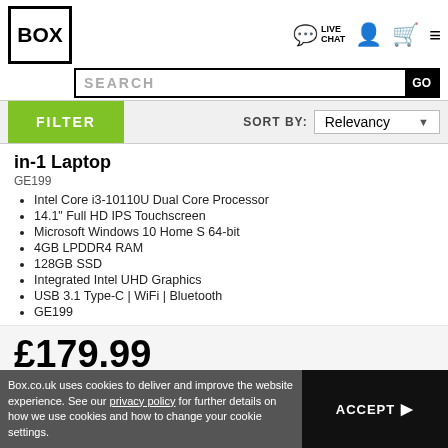[Figure (logo): BOX logo — bold text BOX inside a square border]
[Figure (screenshot): Navigation icons: Live Chat speech bubble, person icon, cart icon, hamburger menu]
[Figure (screenshot): Search bar with SEARCH placeholder text and GO button]
[Figure (screenshot): FILTER button (green) and SORT BY Relevancy dropdown]
in-1 Laptop
GE199
Intel Core i3-10110U Dual Core Processor
14.1" Full HD IPS Touchscreen
Microsoft Windows 10 Home S 64-bit
4GB LPDDR4 RAM
128GB SSD
Integrated Intel UHD Graphics
USB 3.1 Type-C | WiFi | Bluetooth
GE199
£179.99
FREE Delivery
Box.co.uk uses cookies to deliver and improve the website experience. See our privacy policy for further details on how we use cookies and how to change your cookie settings.